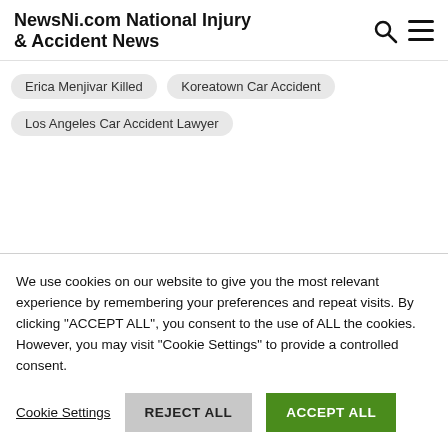NewsNi.com National Injury & Accident News
Erica Menjivar Killed   Koreatown Car Accident
Los Angeles Car Accident Lawyer
We use cookies on our website to give you the most relevant experience by remembering your preferences and repeat visits. By clicking "ACCEPT ALL", you consent to the use of ALL the cookies. However, you may visit "Cookie Settings" to provide a controlled consent.